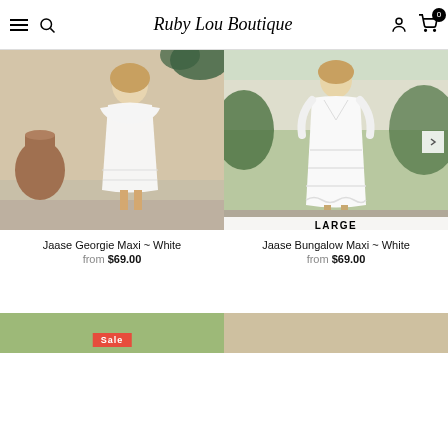Ruby Lou Boutique
[Figure (photo): Woman wearing Jaase Georgie Maxi dress in White, off-shoulder white maxi dress, standing on stone steps with a terracotta pot nearby]
Jaase Georgie Maxi ~ White
from $69.00
[Figure (photo): Woman wearing Jaase Bungalow Maxi dress in White, deep V-neck lace white maxi dress, standing outdoors with greenery behind. Size badge: LARGE]
Jaase Bungalow Maxi ~ White
from $69.00
[Figure (photo): Partial view of a third product photo at bottom left with Sale badge]
[Figure (photo): Partial view of a fourth product photo at bottom right]